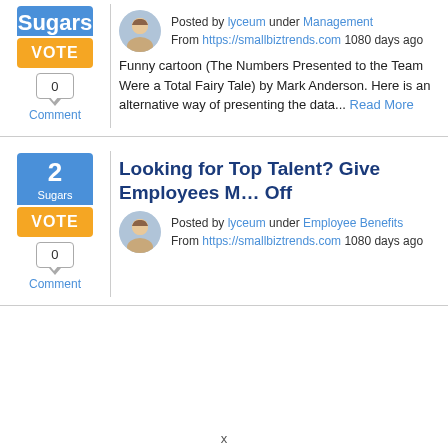Funny cartoon (The Numbers Presented to the Team Were a Total Fairy Tale) by Mark Anderson. Here is an alternative way of presenting the data... Read More
Posted by lyceum under Management
From https://smallbiztrends.com 1080 days ago
Looking for Top Talent? Give Employees More Time Off
Posted by lyceum under Employee Benefits
From https://smallbiztrends.com 1080 days ago